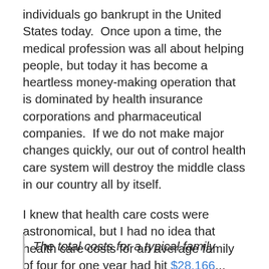individuals go bankrupt in the United States today.  Once upon a time, the medical profession was all about helping people, but today it has become a heartless money-making operation that is dominated by health insurance corporations and pharmaceutical companies.  If we do not make major changes quickly, our out of control health care system will destroy the middle class in our country all by itself.
I knew that health care costs were astronomical, but I had no idea that health care costs for an average family of four for one year had hit $28,166...
The total costs for a typical family